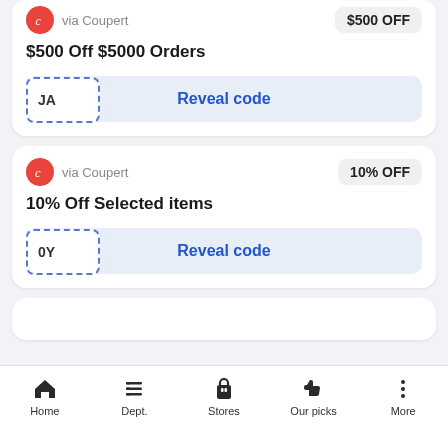$500 Off $5000 Orders
JA   Reveal code
via Coupert  10% OFF
10% Off Selected items
0Y   Reveal code
Home  Dept.  Stores  Our picks  More